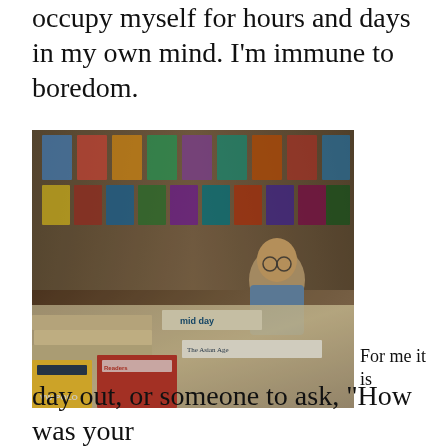occupy myself for hours and days in my own mind. I’m immune to boredom.
[Figure (photo): A man sitting at a newspaper stand with many magazines and newspapers displayed on the wall and stacked on the counter in front of him.]
For me it is
Privacy & Cookies: This site uses cookies. By continuing to use this website, you agree to their use.
To find out more, including how to control cookies, see here: Cookie Policy
[Close and accept]
day out, or someone to ask, “How was your